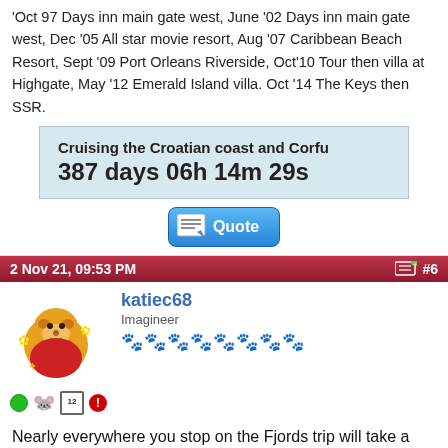'Oct 97 Days inn main gate west, June '02 Days inn main gate west, Dec '05 All star movie resort, Aug '07 Caribbean Beach Resort, Sept '09 Port Orleans Riverside, Oct'10 Tour then villa at Highgate, May '12 Emerald Island villa. Oct '14 The Keys then SSR.
[Figure (infographic): Countdown box: Cruising the Croatian coast and Corfu / 387 days 06h 14m 29s]
[Figure (infographic): Quote button with notebook icon]
2 Nov 21, 09:53 PM  #6
[Figure (photo): Avatar: Winnie the Pooh cartoon image]
katiec68
Imagинeer
Nearly everywhere you stop on the Fjords trip will take a card - maybe some of the smaller coffee shops wont - but you will need a second mortgage - think £10 a pint of £5 a coffee
We would go out in the morning and then return to the ship for lunch and then out again in the afternoon for some more